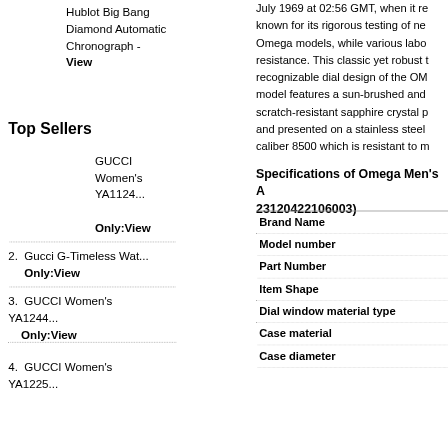Hublot Big Bang Diamond Automatic Chronograph -
View
Top Sellers
GUCCI Women's YA1124...
Only:View
2. Gucci G-Timeless Wat...
Only:View
3. GUCCI Women's YA1244...
Only:View
4. GUCCI Women's YA1225...
July 1969 at 02:56 GMT, when it re known for its rigorous testing of ne Omega models, while various labo resistance. This classic yet robust t recognizable dial design of the OM model features a sun-brushed and scratch-resistant sapphire crystal p and presented on a stainless steel caliber 8500 which is resistant to m
Specifications of Omega Men's A 23120422106003)
| Brand Name | Model number | Part Number | Item Shape | Dial window material type | Case material | Case diameter |
| --- | --- | --- | --- | --- | --- | --- |